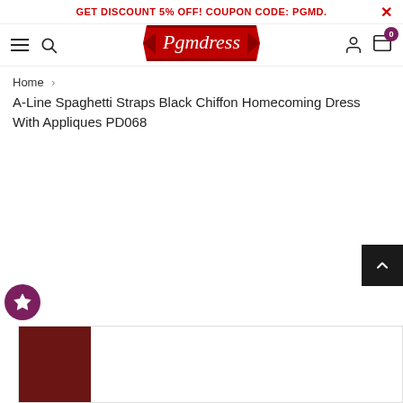GET DISCOUNT 5% OFF! COUPON CODE: PGMD.
[Figure (logo): Pgmdress logo - red ribbon banner with white italic text]
Home > A-Line Spaghetti Straps Black Chiffon Homecoming Dress With Appliques PD068
A-Line Spaghetti Straps Black Chiffon Homecoming Dress With Appliques PD068
[Figure (photo): Product image placeholder - dark maroon/wine colored dress on left, white area on right]